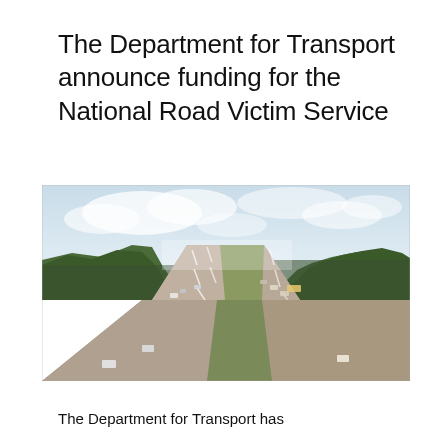The Department for Transport announce funding for the National Road Victim Service
[Figure (photo): Aerial view of a multi-lane motorway with cars traveling in both directions, flanked by green tree-covered hillsides and a central reservation, under a pale blue sky with scattered clouds.]
The Department for Transport has